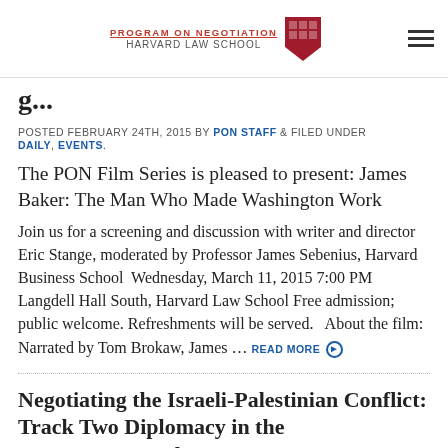PROGRAM ON NEGOTIATION HARVARD LAW SCHOOL
POSTED FEBRUARY 24TH, 2015 BY PON STAFF & FILED UNDER DAILY, EVENTS.
The PON Film Series is pleased to present: James Baker: The Man Who Made Washington Work
Join us for a screening and discussion with writer and director Eric Stange, moderated by Professor James Sebenius, Harvard Business School  Wednesday, March 11, 2015 7:00 PM Langdell Hall South, Harvard Law School Free admission; public welcome.  Refreshments will be served.   About the film: Narrated by Tom Brokaw, James … READ MORE
Negotiating the Israeli-Palestinian Conflict: Track Two Diplomacy in the Past, Present and Future